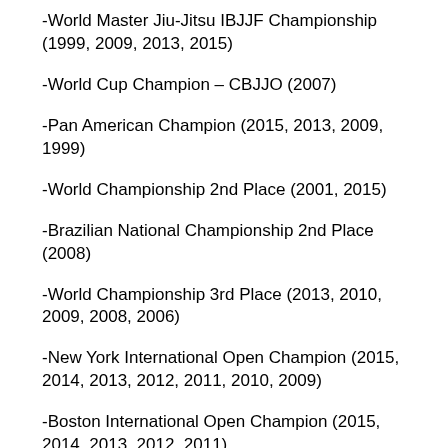-World Master Jiu-Jitsu IBJJF Championship (1999, 2009, 2013, 2015)
-World Cup Champion – CBJJO (2007)
-Pan American Champion (2015, 2013, 2009, 1999)
-World Championship 2nd Place (2001, 2015)
-Brazilian National Championship 2nd Place (2008)
-World Championship 3rd Place (2013, 2010, 2009, 2008, 2006)
-New York International Open Champion (2015, 2014, 2013, 2012, 2011, 2010, 2009)
-Boston International Open Champion (2015, 2014, 2013, 2012, 2011)
-Miami International Open Champion (2012, 2011)